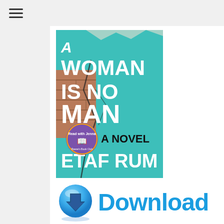[Figure (screenshot): Hamburger menu icon (three horizontal lines) in top-left navigation bar]
[Figure (photo): Book cover of 'A Woman Is No Man: A Novel' by Etaf Rum. Teal/turquoise cracked wall background with large white handwritten text reading 'WOMAN IS NO MAN', black text 'A NOVEL', author name 'ETAF RUM' in white, and a Read with Jenna book club badge.]
[Figure (illustration): Blue glossy circular download button icon with downward arrow, followed by the word 'Download' in large bold blue text]
A Woman Is No Man: A Novel